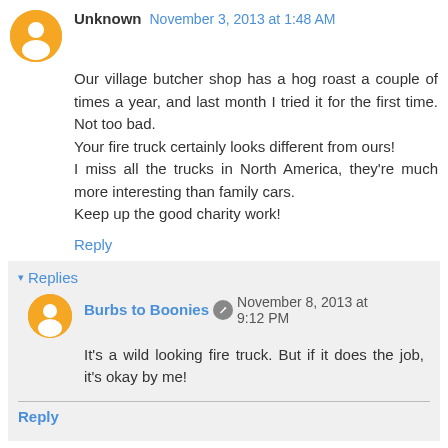Unknown  November 3, 2013 at 1:48 AM
Our village butcher shop has a hog roast a couple of times a year, and last month I tried it for the first time. Not too bad.
Your fire truck certainly looks different from ours!
I miss all the trucks in North America, they're much more interesting than family cars.
Keep up the good charity work!
Reply
▾ Replies
Burbs to Boonies  November 8, 2013 at 9:12 PM
It's a wild looking fire truck. But if it does the job, it's okay by me!
Reply